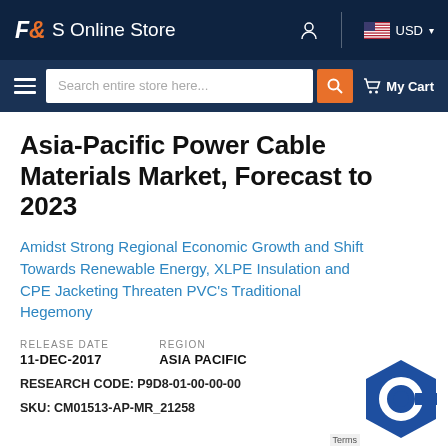F&S Online Store | USD | My Cart
Asia-Pacific Power Cable Materials Market, Forecast to 2023
Amidst Strong Regional Economic Growth and Shift Towards Renewable Energy, XLPE Insulation and CPE Jacketing Threaten PVC’s Traditional Hegemony
RELEASE DATE
11-DEC-2017
REGION
ASIA PACIFIC
RESEARCH CODE: P9D8-01-00-00-00
SKU: CM01513-AP-MR_21258